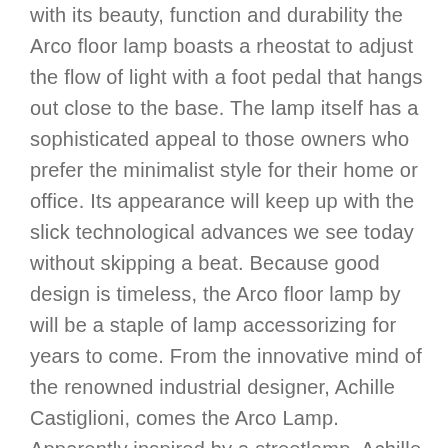with its beauty, function and durability the Arco floor lamp boasts a rheostat to adjust the flow of light with a foot pedal that hangs out close to the base. The lamp itself has a sophisticated appeal to those owners who prefer the minimalist style for their home or office. Its appearance will keep up with the slick technological advances we see today without skipping a beat. Because good design is timeless, the Arco floor lamp by will be a staple of lamp accessorizing for years to come. From the innovative mind of the renowned industrial designer, Achille Castiglioni, comes the Arco Lamp. Apparently inspired by a streetlamp, Achille show's us a design that's both functional and aesthetically pleasing. The base is large in order to support the entire mechanism. However, even with the size, it fits perfectly with the image as whole. Complete with a hole in order for easier moving with a rod. The actual light source is then hung from a wide arch.